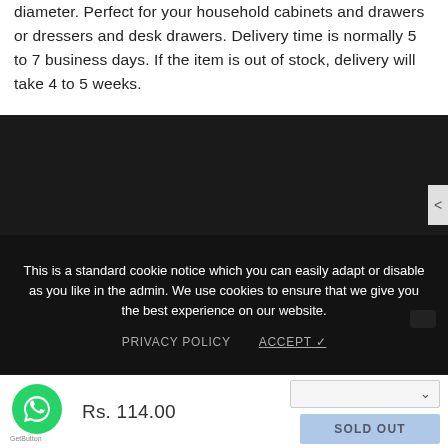diameter. Perfect for your household cabinets and drawers or dressers and desk drawers. Delivery time is normally 5 to 7 business days. If the item is out of stock, delivery will take 4 to 5 weeks.
[Figure (screenshot): Dark background video/image block with a cookie consent overlay. Cookie notice reads: 'This is a standard cookie notice which you can easily adapt or disable as you like in the admin. We use cookies to ensure that we give you the best experience on our website.' With PRIVACY POLICY and ACCEPT buttons.]
Rs. 114.00
[Figure (other): WhatsApp GetButton chat widget icon (green circle with phone icon) and GetButton label below.]
SOLD OUT